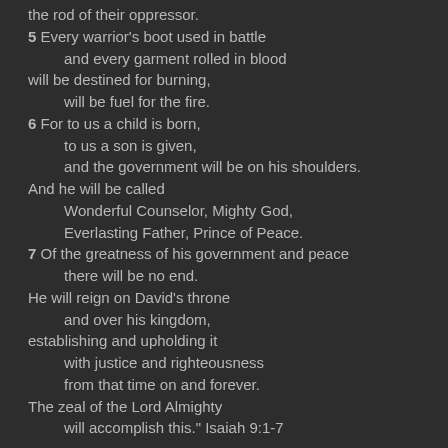the rod of their oppressor.
5 Every warrior's boot used in battle
    and every garment rolled in blood
will be destined for burning,
    will be fuel for the fire.
6 For to us a child is born,
    to us a son is given,
    and the government will be on his shoulders.
And he will be called
    Wonderful Counselor, Mighty God,
    Everlasting Father, Prince of Peace.
7 Of the greatness of his government and peace
    there will be no end.
He will reign on David's throne
    and over his kingdom,
establishing and upholding it
    with justice and righteousness
    from that time on and forever.
The zeal of the Lord Almighty
    will accomplish this." Isaiah 9:1-7